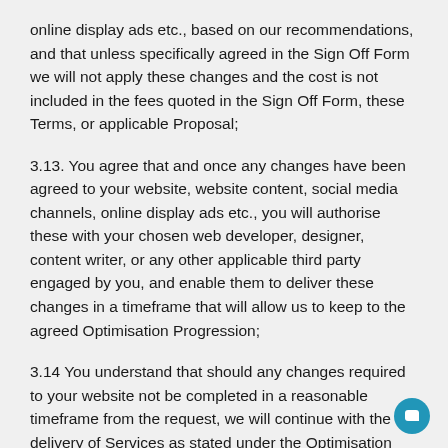online display ads etc., based on our recommendations, and that unless specifically agreed in the Sign Off Form we will not apply these changes and the cost is not included in the fees quoted in the Sign Off Form, these Terms, or applicable Proposal;
3.13. You agree that and once any changes have been agreed to your website, website content, social media channels, online display ads etc., you will authorise these with your chosen web developer, designer, content writer, or any other applicable third party engaged by you, and enable them to deliver these changes in a timeframe that will allow us to keep to the agreed Optimisation Progression;
3.14 You understand that should any changes required to your website not be completed in a reasonable timeframe from the request, we will continue with the delivery of Services as stated under the Optimisation Progression,